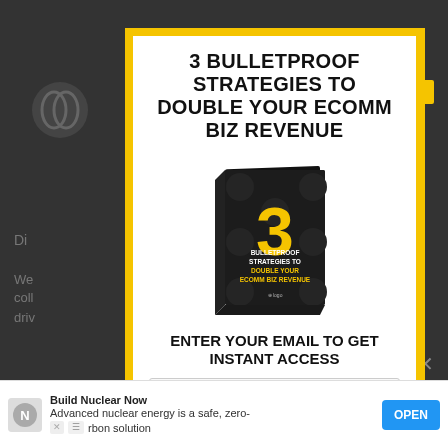3 BULLETPROOF STRATEGIES TO DOUBLE YOUR ECOMM BIZ REVENUE
[Figure (illustration): 3D book cover titled '3 Bulletproof Strategies to Double Your Ecomm Biz Revenue' with a large yellow number 3 on a dark background]
ENTER YOUR EMAIL TO GET INSTANT ACCESS
Email
Build Nuclear Now
Advanced nuclear energy is a safe, zero-carbon solution
OPEN